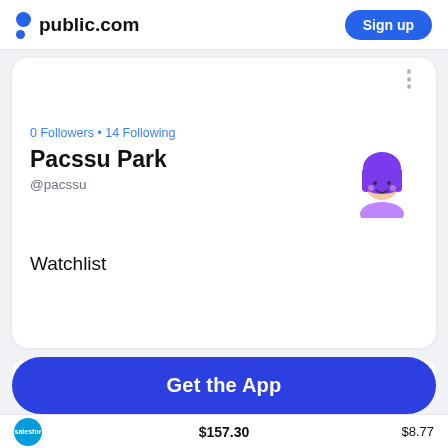public.com  Sign up
0 Followers • 14 Following
Pacssu Park
@pacssu
Watchlist
Watchlist
Name
Get the App
$157.30
$8.77